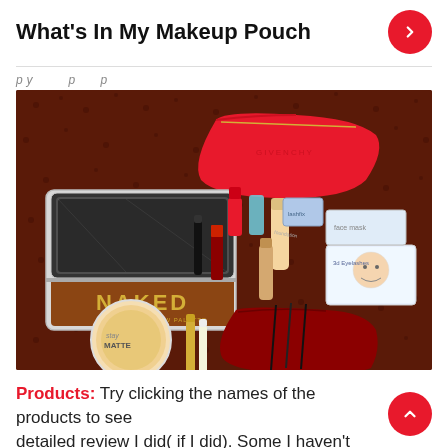What's In My Makeup Pouch
p y        p     p
[Figure (photo): Flat lay photo of makeup products on a dark red/brown fuzzy carpet, including an Urban Decay NAKED palette with mirror, a red Givenchy makeup bag, Maybelline powder compact, mascara, lipstick, foundation tube, nail polish, and other beauty products spread out]
Products: Try clicking the names of the products to see detailed review I did( if I did). Some I haven't reviewed yet